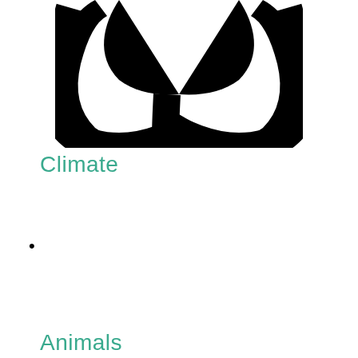[Figure (logo): Black circular peace symbol / leaf icon — large bold black graphic at top center of page]
Climate
•
Animals